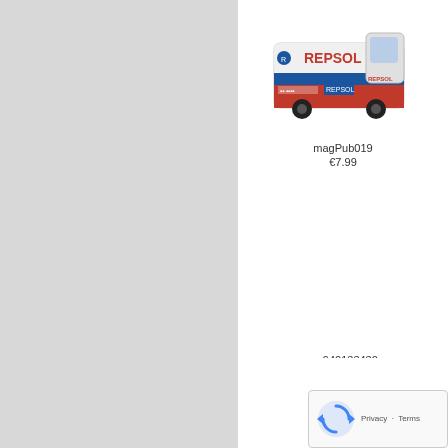[Figure (photo): Toy model van with Repsol branding, white and red livery]
magPub019
€7.99
mc940133430
€37.99
mc870103321
€21.99
[Figure (other): Google reCAPTCHA widget with Privacy and Terms links]